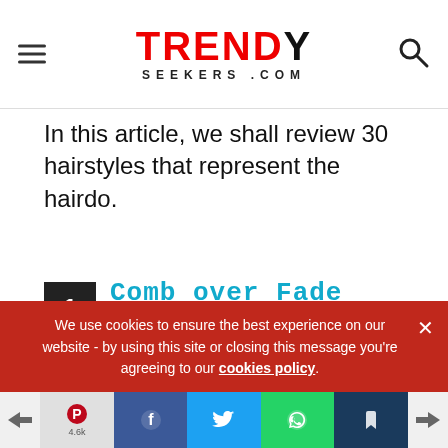TRENDY SEEKERS .COM
In this article, we shall review 30 hairstyles that represent the hairdo.
1 Comb over Fade Style
[Figure (photo): Close-up photograph of a man's head showing a comb over fade hairstyle with dark hair sharply styled to one side and a skin fade on the sides]
We use cookies to ensure the best experience on our website - by using this site or closing this message you're agreeing to our cookies policy.